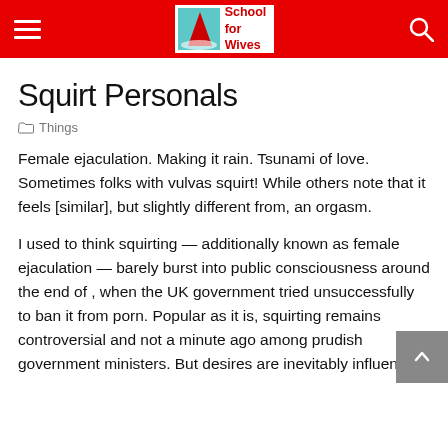School for Wives
Squirt Personals
Things
Female ejaculation. Making it rain. Tsunami of love. Sometimes folks with vulvas squirt! While others note that it feels [similar], but slightly different from, an orgasm.
I used to think squirting — additionally known as female ejaculation — barely burst into public consciousness around the end of , when the UK government tried unsuccessfully to ban it from porn. Popular as it is, squirting remains controversial and not a minute ago among prudish government ministers. But desires are inevitably influenced